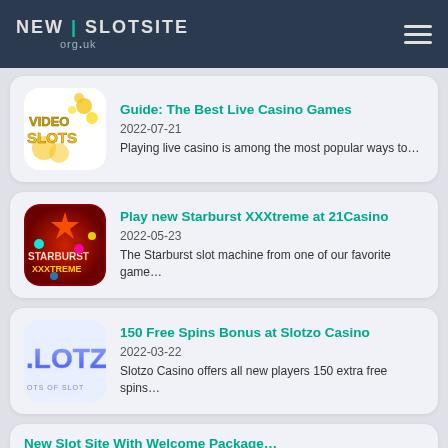NEW | SLOTSITE org.uk
Guide: The Best Live Casino Games
2022-07-21
Playing live casino is among the most popular ways to…
Play new Starburst XXXtreme at 21Casino
2022-05-23
The Starburst slot machine from one of our favorite game…
150 Free Spins Bonus at Slotzo Casino
2022-03-22
Slotzo Casino offers all new players 150 extra free spins…
New Slot Site With Welcome Package…